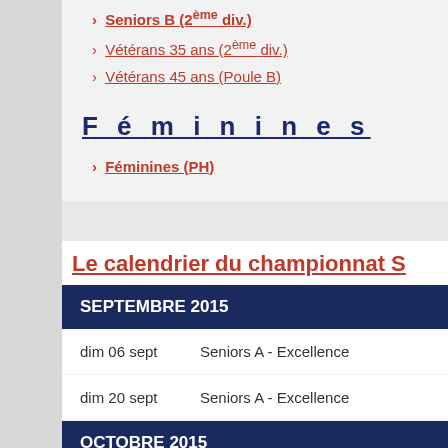Seniors B (2ème div.)
Vétérans 35 ans (2ème div.)
Vétérans 45 ans (Poule B)
Féminines
Féminines (PH)
Le calendrier du championnat S
| Date | Événement |
| --- | --- |
| dim 06 sept | Seniors A - Excellence |
| dim 20 sept | Seniors A - Excellence |
OCTOBRE 2015